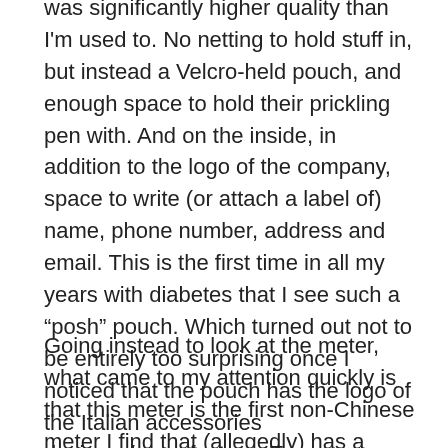was significantly higher quality than I'm used to. No netting to hold stuff in, but instead a Velcro-held pouch, and enough space to hold their prickling pen with. And on the inside, in addition to the logo of the company, space to write (or attach a label of) name, phone number, address and email. This is the first time in all my years with diabetes that I see such a “posh” pouch. Which turned out not to be entirely too surprising once I noticed that the pouch has the logo of the Italian accessories designer/manufacturer Tucano.
Going instead to look at the meter, what came to my attention quickly is that this meter is the first non-Chinese meter I find that (allegedly) has a “touch free” ejection of the testing strips. The shape and construction of the device roughly reminds me of the